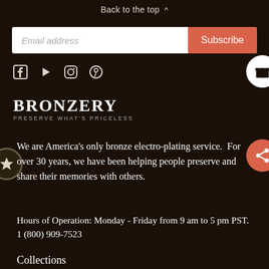Back to the top ^
Email address | Subscribe
[Figure (other): Social media icons: Facebook, YouTube, Instagram, Pinterest]
[Figure (logo): Bronzery logo with tagline PRESERVE WHAT'S PRICELESS]
We are America's only bronze electro-plating service.  For over 30 years, we have been helping people preserve and share their memories with others.
Hours of Operation: Monday - Friday from 9 am to 5 pm PST. 1 (800) 909-7523
Collections